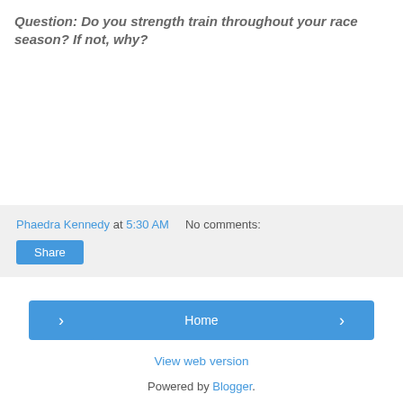Question:  Do you strength train throughout your race season?  If not, why?
Phaedra Kennedy at 5:30 AM    No comments:
Share
< Home >
View web version
Powered by Blogger.